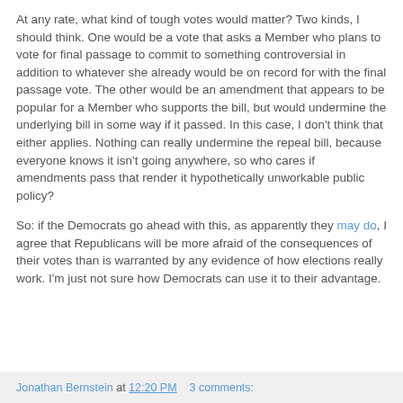At any rate, what kind of tough votes would matter? Two kinds, I should think. One would be a vote that asks a Member who plans to vote for final passage to commit to something controversial in addition to whatever she already would be on record for with the final passage vote. The other would be an amendment that appears to be popular for a Member who supports the bill, but would undermine the underlying bill in some way if it passed. In this case, I don't think that either applies. Nothing can really undermine the repeal bill, because everyone knows it isn't going anywhere, so who cares if amendments pass that render it hypothetically unworkable public policy?
So: if the Democrats go ahead with this, as apparently they may do, I agree that Republicans will be more afraid of the consequences of their votes than is warranted by any evidence of how elections really work. I'm just not sure how Democrats can use it to their advantage.
Jonathan Bernstein at 12:20 PM    3 comments: